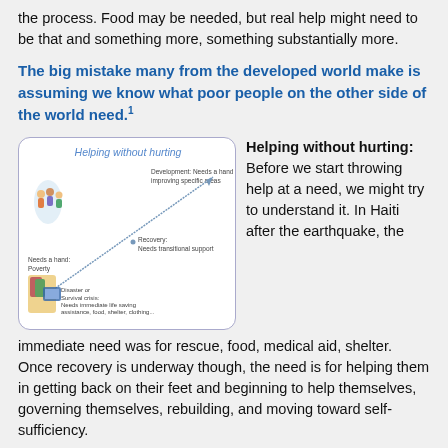the process. Food may be needed, but real help might need to be that and something more, something substantially more.
The big mistake many from the developed world make is assuming we know what poor people on the other side of the world need.¹
[Figure (infographic): Infographic titled 'Helping without hurting' showing a diagram with three levels: Needs a hand: Poverty (bottom left), Disaster or Survival crisis (bottom center with images), Recovery: Needs transitional support (middle), Development: Needs a hand improving specific areas (top right), with arrows indicating progression.]
Helping without hurting: Before we start throwing help at a need, we might try to understand it. In Haiti after the earthquake, the immediate need was for rescue, food, medical aid, shelter. Once recovery is underway though, the need is for helping them in getting back on their feet and beginning to help themselves, governing themselves, rebuilding, and moving toward self-sufficiency.
Note (illustration left) that when the need is developmental,